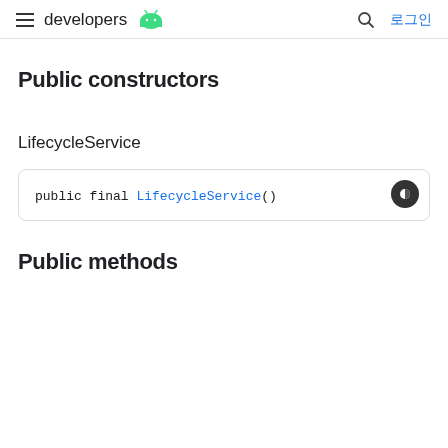developers 로그인
Public constructors
LifecycleService
public final LifecycleService()
Public methods